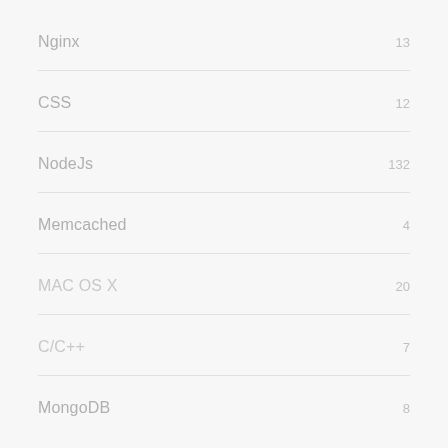Nginx 13
CSS 12
NodeJs 132
Memcached 4
MAC OS X 20
C/C++ 7
MongoDB 8